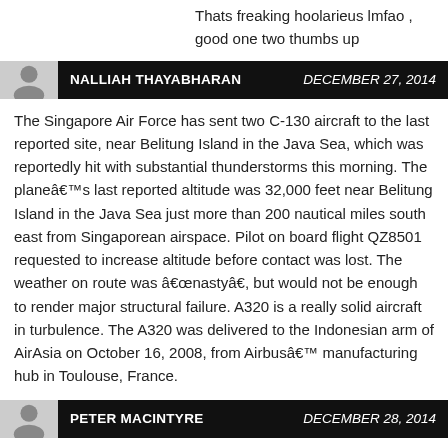Thats freaking hoolarieus lmfao , good one two thumbs up
NALLIAH THAYABHARAN   DECEMBER 27, 2014
The Singapore Air Force has sent two C-130 aircraft to the last reported site, near Belitung Island in the Java Sea, which was reportedly hit with substantial thunderstorms this morning. The planeâ€™s last reported altitude was 32,000 feet near Belitung Island in the Java Sea just more than 200 nautical miles south east from Singaporean airspace. Pilot on board flight QZ8501 requested to increase altitude before contact was lost. The weather on route was â€œnastyâ€​, but would not be enough to render major structural failure. A320 is a really solid aircraft in turbulence. The A320 was delivered to the Indonesian arm of AirAsia on October 16, 2008, from Airbusâ€™ manufacturing hub in Toulouse, France.
PETER MACINTYRE   DECEMBER 28, 2014
The engine type has a history of cutting out in heavy